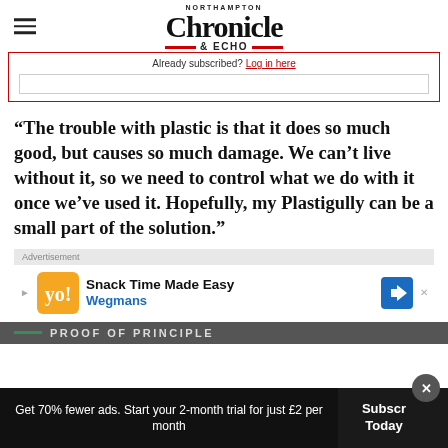Northampton Chronicle & Echo
Already subscribed? Log in here
“The trouble with plastic is that it does so much good, but causes so much damage. We can’t live without it, so we need to control what we do with it once we’ve used it. Hopefully, my Plastigully can be a small part of the solution.”
[Figure (screenshot): Advertisement banner for Wegmans: Snack Time Made Easy]
PROOF OF PRINCIPLE
Get 70% fewer ads. Start your 2-month trial for just £2 per month
Subscribe Today